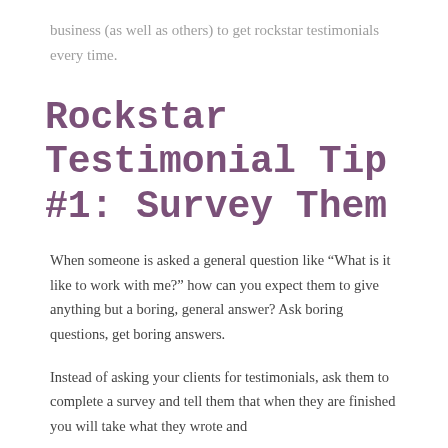business (as well as others) to get rockstar testimonials every time.
Rockstar Testimonial Tip #1: Survey Them
When someone is asked a general question like “What is it like to work with me?” how can you expect them to give anything but a boring, general answer? Ask boring questions, get boring answers.
Instead of asking your clients for testimonials, ask them to complete a survey and tell them that when they are finished you will take what they wrote and